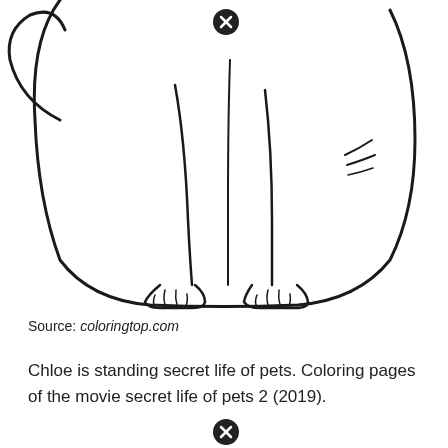[Figure (illustration): Coloring page illustration showing the lower body and paws of a cartoon cat (Chloe from Secret Life of Pets), viewed from behind. The cat is seated with tail curling to the left, two front paws visible at the bottom, and whisker-like marks on the back. Black and white line art style. A close/cancel icon (circle with X) appears at the top center of the image.]
Source: coloringtop.com
Chloe is standing secret life of pets. Coloring pages of the movie secret life of pets 2 (2019).
[Figure (other): Close/cancel icon (circle with X) at the bottom center of the page.]